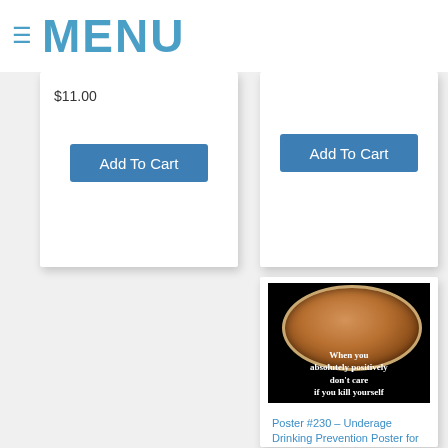≡ MENU
$11.00
Add To Cart
Add To Cart
[Figure (photo): A petri dish or glass bowl containing a brownish foamy liquid (appears to be an alcoholic drink), on a black background, with text overlay reading: 'When you absolutely positively don't care if you kill yourself']
Poster #230 – Underage Drinking Prevention Poster for